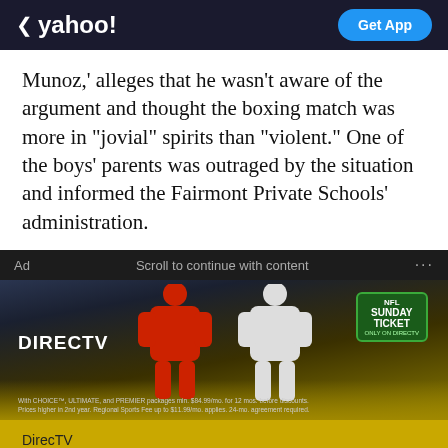< yahoo! | Get App
Munoz,' alleges that he wasn't aware of the argument and thought the boxing match was more in "jovial" spirits than "violent." One of the boys' parents was outraged by the situation and informed the Fairmont Private Schools' administration.
[Figure (screenshot): DirecTV NFL Sunday Ticket advertisement banner showing two NFL quarterbacks (one in red Kansas City Chiefs jersey, one in white Dallas Cowboys jersey) against a stadium background, with DirecTV logo and NFL Sunday Ticket badge. Fine print about CHOICE, ULTIMATE, and PREMIER packages.]
Ad   Scroll to continue with content   ...
DirecTV
NFL Sunday Ticket
Don't be left on the sidelines this season, Get